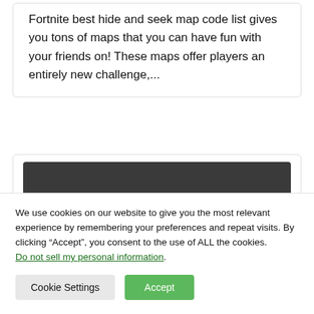Fortnite best hide and seek map code list gives you tons of maps that you can have fun with your friends on! These maps offer players an entirely new challenge,...
[Figure (other): Dark gray rectangular banner/image block]
We use cookies on our website to give you the most relevant experience by remembering your preferences and repeat visits. By clicking “Accept”, you consent to the use of ALL the cookies. Do not sell my personal information.